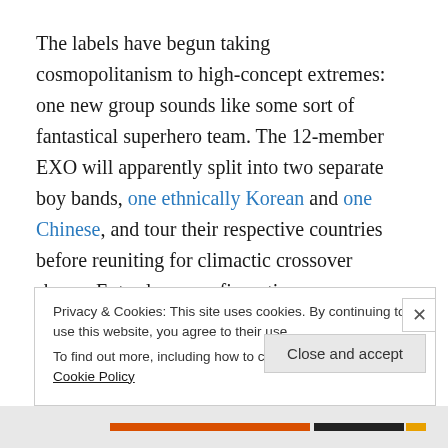The labels have begun taking cosmopolitanism to high-concept extremes: one new group sounds like some sort of fantastical superhero team. The 12-member EXO will apparently split into two separate boy bands, one ethnically Korean and one Chinese, and tour their respective countries before reuniting for climactic crossover shows. Extra-large configurations are common
Privacy & Cookies: This site uses cookies. By continuing to use this website, you agree to their use.
To find out more, including how to control cookies, see here: Cookie Policy
Close and accept